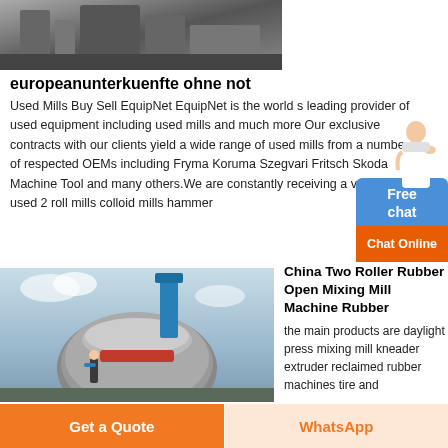[Figure (photo): Industrial machinery or factory equipment photo in grayscale]
europeanunterkuenfte ohne not
Used Mills Buy Sell EquipNet EquipNet is the world s leading provider of used equipment including used mills and much more Our exclusive contracts with our clients yield a wide range of used mills from a number of respected OEMs including Fryma Koruma Szegvari Fritsch Skoda Machine Tool and many others.We are constantly receiving a variety of used 2 roll mills colloid mills hammer
[Figure (photo): Large industrial grinding mill machine being installed or assembled outdoors, with workers and crane visible]
China Two Roller Rubber Open Mixing Mill Machine Rubber
the main products are daylight press mixing mill kneader extruder reclaimed rubber machines tire and
Get a Quote    WhatsApp